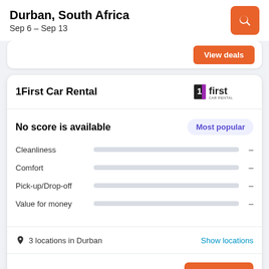Durban, South Africa
Sep 6 – Sep 13
View deals
1First Car Rental
No score is available
Most popular
Cleanliness
Comfort
Pick-up/Drop-off
Value for money
3 locations in Durban
Show locations
from R24/day
View deals